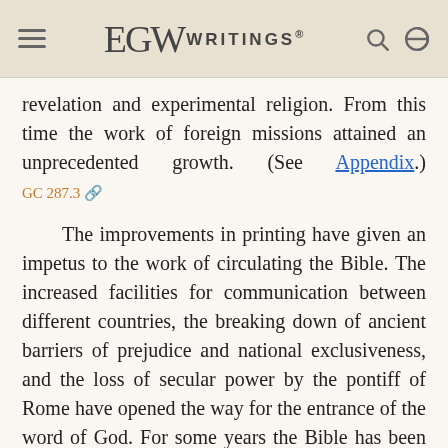EGW WRITINGS®
revelation and experimental religion. From this time the work of foreign missions attained an unprecedented growth. (See Appendix.) GC 287.3
The improvements in printing have given an impetus to the work of circulating the Bible. The increased facilities for communication between different countries, the breaking down of ancient barriers of prejudice and national exclusiveness, and the loss of secular power by the pontiff of Rome have opened the way for the entrance of the word of God. For some years the Bible has been sold without restraint in the streets of Rome, and it has now been carried to every part of the habitable globe. GC 288.1